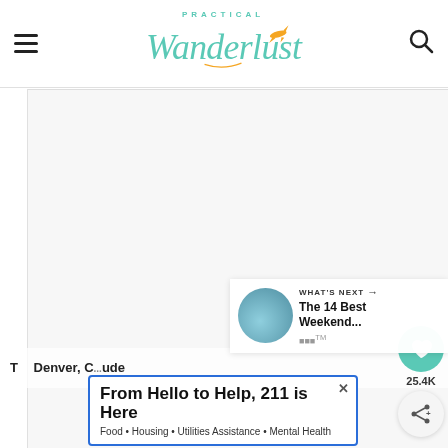PRACTICAL Wanderlust
[Figure (photo): Large mostly blank/white image area below the header, part of a travel blog article layout]
[Figure (infographic): Social share sidebar with teal heart button showing 25.4K saves and a share button]
[Figure (photo): What's Next panel with circular thumbnail photo and text: The 14 Best Weekend...]
The 14 Best Weekend... Denver, Colorado ... Guide
From Hello to Help, 211 is Here
Food • Housing • Utilities Assistance • Mental Health